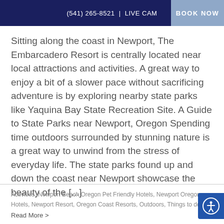(541) 265-8521 | LIVE CAM   BOOK NOW
Sitting along the coast in Newport, The Embarcadero Resort is centrally located near local attractions and activities. A great way to enjoy a bit of a slower pace without sacrificing adventure is by exploring nearby state parks like Yaquina Bay State Recreation Site. A Guide to State Parks near Newport, Oregon Spending time outdoors surrounded by stunning nature is a great way to unwind from the stress of everyday life. The state parks found up and down the coast near Newport showcase the beauty of the [...]
Activities, Newport Beach Oregon Pet Friendly Hotels, Newport Oregon Hotels, Newport Resort, Oregon Coast Resorts, Outdoors, Things to do
Read More >